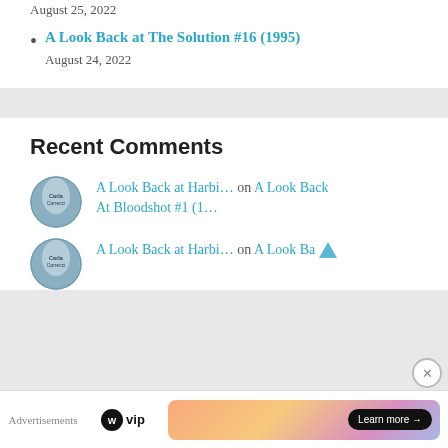August 25, 2022
A Look Back at The Solution #16 (1995)
August 24, 2022
Recent Comments
[Figure (illustration): Circular avatar image showing a book cover with text 'Carla Carrecci']
A Look Back at Harbi… on A Look Back At Bloodshot #1 (1…
[Figure (illustration): Second circular avatar image similar to first]
A Look Back at Harbi… on A Look Ba…
Advertisements
[Figure (logo): WordPress VIP logo]
[Figure (other): Advertisement banner with gradient background and 'Learn more' button]